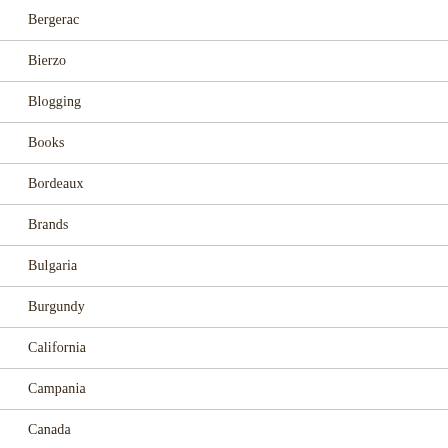Bergerac
Bierzo
Blogging
Books
Bordeaux
Brands
Bulgaria
Burgundy
California
Campania
Canada